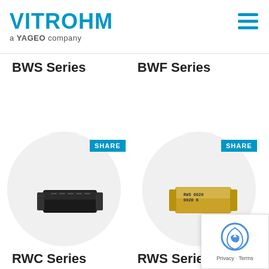VITROHM a YAGEO company
BWS Series
BWF Series
[Figure (photo): Black rectangular SMD resistor component labeled RWC series, shown inside a light gray circle with a SHARE badge]
[Figure (photo): Gold/yellow rectangular resistor component labeled RWS series, shown inside a light gray circle with a SHARE badge]
RWC Series
RWS Series